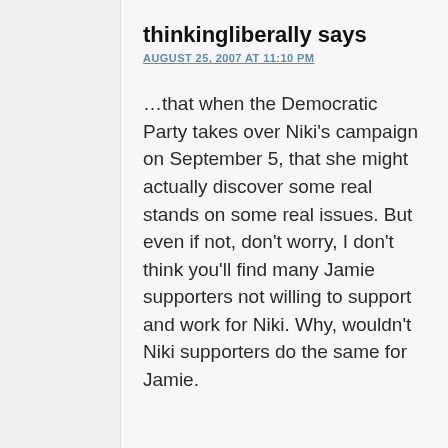thinkingliberally says
AUGUST 25, 2007 AT 11:10 PM
…that when the Democratic Party takes over Niki's campaign on September 5, that she might actually discover some real stands on some real issues. But even if not, don't worry, I don't think you'll find many Jamie supporters not willing to support and work for Niki. Why, wouldn't Niki supporters do the same for Jamie.